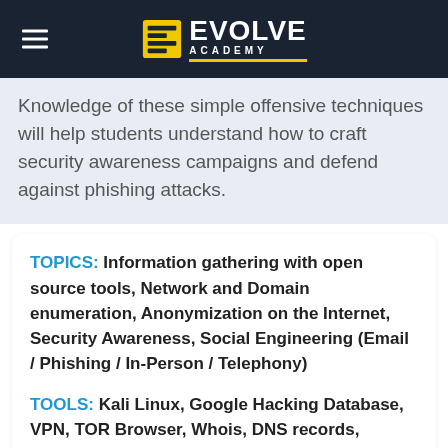EVOLVE ACADEMY
Knowledge of these simple offensive techniques will help students understand how to craft security awareness campaigns and defend against phishing attacks.
TOPICS: Information gathering with open source tools, Network and Domain enumeration, Anonymization on the Internet, Security Awareness, Social Engineering (Email / Phishing / In-Person / Telephony)
TOOLS: Kali Linux, Google Hacking Database, VPN, TOR Browser, Whois, DNS records,